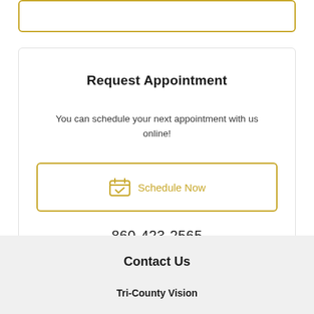Request Appointment
You can schedule your next appointment with us online!
[Figure (other): Schedule Now button with calendar icon, outlined in gold]
860-423-2565
Contact Us
Tri-County Vision